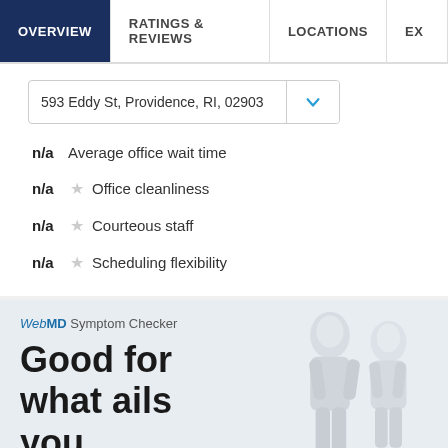OVERVIEW | RATINGS & REVIEWS | LOCATIONS | EX
593 Eddy St, Providence, RI, 02903
n/a Average office wait time
n/a ☆ Office cleanliness
n/a ☆ Courteous staff
n/a ☆ Scheduling flexibility
[Figure (illustration): WebMD Symptom Checker advertisement featuring two white 3D mannequin human figures (male and female) with text 'Good for what ails you.']